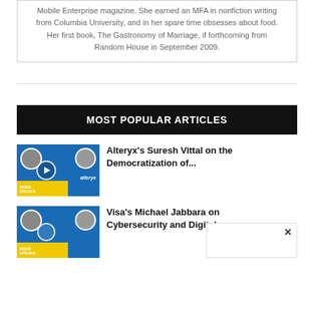Mobile Enterprise magazine. She earned an MFA in nonfiction writing from Columbia University, and in her spare time obsesses about food. Her first book, The Gastronomy of Marriage, if forthcoming from Random House in September 2009.
MOST POPULAR ARTICLES
[Figure (photo): Podcast thumbnail with two people, play button, blue background, yellow bar at bottom, 'WEEK SPEAKS' text, 'alteryx' text]
Alteryx's Suresh Vittal on the Democratization of...
[Figure (photo): Podcast thumbnail with two people, circle icon, blue background, yellow bar at bottom, 'WEEK SPEAKS' text]
Visa's Michael Jabbara on Cybersecurity and Digital...